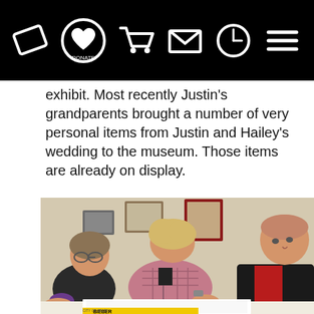[Navigation bar with icons: ticket, donate heart, shopping cart, envelope, clock, hamburger menu]
exhibit. Most recently Justin's grandparents brought a number of very personal items from Justin and Hailey's wedding to the museum. Those items are already on display.
[Figure (photo): Three people looking at documents on a table. A woman with glasses on the left, a woman with blonde hair in a plaid jacket in the center leaning over and writing, and an older bald man in a red shirt on the right. A yellow sign with 'BIEBER' text is visible at the bottom of the image.]